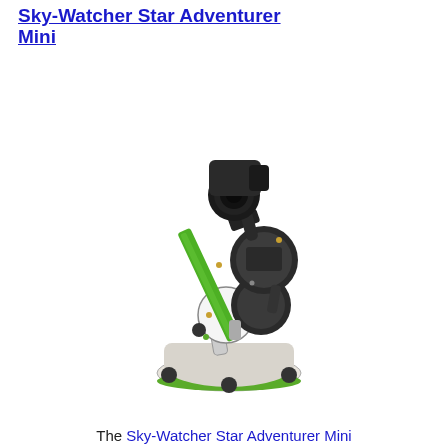Sky-Watcher Star Adventurer Mini
[Figure (photo): Photo of the Sky-Watcher Star Adventurer Mini astronomy tracking mount, showing a compact equatorial mount with a green dovetail bar, black and white/cream azimuth base, and a small black telescope/camera mounted on top.]
The Sky-Watcher Star Adventurer Mini